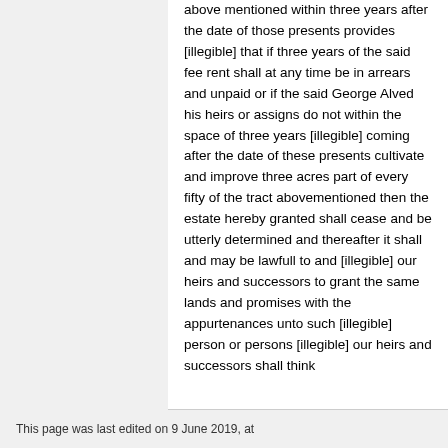above mentioned within three years after the date of those presents provides [illegible] that if three years of the said fee rent shall at any time be in arrears and unpaid or if the said George Alved his heirs or assigns do not within the space of three years [illegible] coming after the date of these presents cultivate and improve three acres part of every fifty of the tract abovementioned then the estate hereby granted shall cease and be utterly determined and thereafter it shall and may be lawfull to and [illegible] our heirs and successors to grant the same lands and promises with the appurtenances unto such [illegible] person or persons [illegible] our heirs and successors shall think
This page was last edited on 9 June 2019, at